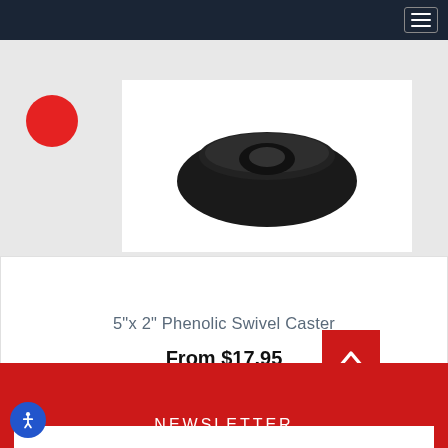Navigation bar with hamburger menu
[Figure (photo): Product photo of a 5"x 2" Phenolic Swivel Caster wheel — dark/black wheel shown on white card background, with a red circle thumbnail on the left side. Light gray background surrounds the product card.]
5"x 2" Phenolic Swivel Caster
From $17.95
NEWSLETTER
NEWSLETTER